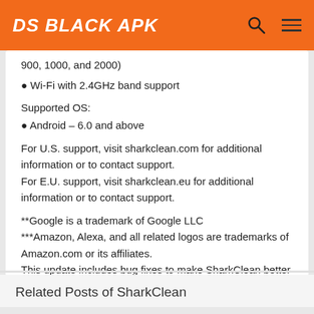DS BLACK APK
900, 1000, and 2000)
● Wi-Fi with 2.4GHz band support
Supported OS:
● Android – 6.0 and above
For U.S. support, visit sharkclean.com for additional information or to contact support.
For E.U. support, visit sharkclean.eu for additional information or to contact support.
**Google is a trademark of Google LLC
***Amazon, Alexa, and all related logos are trademarks of Amazon.com or its affiliates.
This update includes bug fixes to make SharkClean better for you.
Related Posts of SharkClean